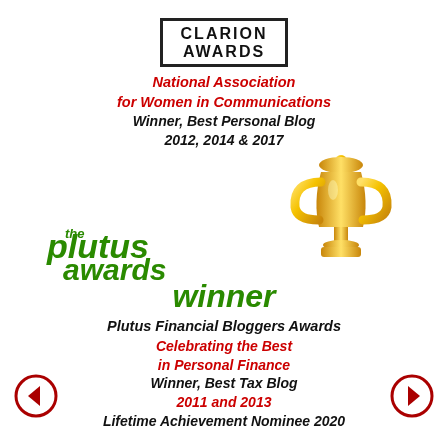[Figure (logo): Clarion Awards logo — black bordered box with CLARION AWARDS text]
National Association for Women in Communications
Winner, Best Personal Blog
2012, 2014 & 2017
[Figure (logo): The Plutus Awards logo in green stylized text]
[Figure (illustration): Gold trophy cup illustration]
winner
Plutus Financial Bloggers Awards
Celebrating the Best in Personal Finance
Winner, Best Tax Blog
2011 and 2013
Lifetime Achievement Nominee 2020